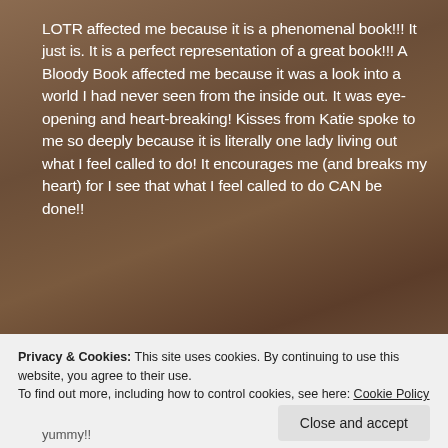LOTR affected me because it is a phenomenal book!!! It just is. It is a perfect representation of a great book!!! A Bloody Book affected me because it was a look into a world I had never seen from the inside out. It was eye-opening and heart-breaking! Kisses from Katie spoke to me so deeply because it is literally one lady living out what I feel called to do! It encourages me (and breaks my heart) for I see that what I feel called to do CAN be done!!
What's your go-to pizza toppings?
Privacy & Cookies: This site uses cookies. By continuing to use this website, you agree to their use.
To find out more, including how to control cookies, see here: Cookie Policy
Close and accept
yummy!!